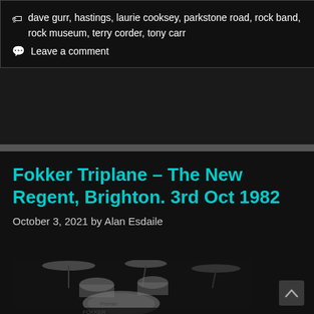🏷 dave gurr, hastings, laurie cooksey, parkstone road, rock band, rock museum, terry corder, tony carr
💬 Leave a comment
Fokker Triplane – The New Regent, Brighton. 3rd Oct 1982
October 3, 2021 by Alan Esdaile
[Figure (photo): Black and white photograph of a drum kit on stage, showing cymbals, snare, bass drum with 'Premier' branding, taken at a live concert in low light conditions.]